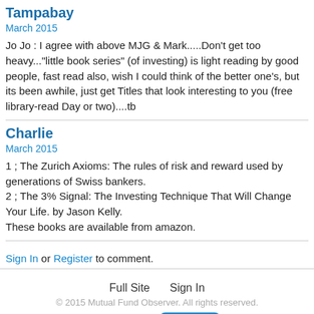Tampabay
March 2015
Jo Jo : I agree with above MJG & Mark.....Don't get too heavy..."little book series" (of investing) is light reading by good people, fast read also, wish I could think of the better one's, but its been awhile, just get Titles that look interesting to you (free library-read Day or two)....tb
Charlie
March 2015
1 ; The Zurich Axioms: The rules of risk and reward used by generations of Swiss bankers.
2 ; The 3% Signal: The Investing Technique That Will Change Your Life. by Jason Kelly.
These books are available from amazon.
Sign In or Register to comment.
Full Site   Sign In
© 2015 Mutual Fund Observer. All rights reserved.